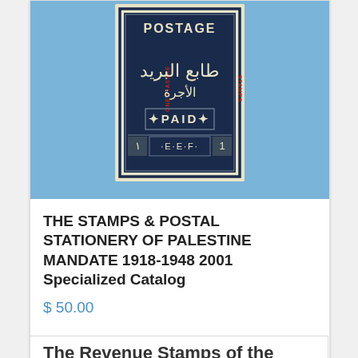[Figure (photo): A Palestine postage stamp showing Arabic text, 'POSTAGE', 'PAID', 'E·E·F', and the numeral 1 on a light background, displayed against a light blue backdrop. The card product image.]
THE STAMPS & POSTAL STATIONERY OF PALESTINE MANDATE 1918-1948 2001 Specialized Catalog
$ 50.00
Add to cart
Show Details
The Revenue Stamps of the